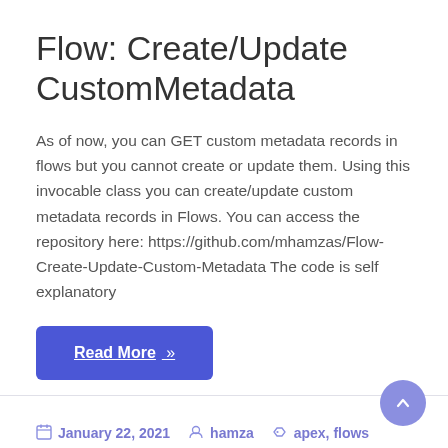Flow: Create/Update CustomMetadata
As of now, you can GET custom metadata records in flows but you cannot create or update them. Using this invocable class you can create/update custom metadata records in Flows. You can access the repository here: https://github.com/mhamzas/Flow-Create-Update-Custom-Metadata The code is self explanatory
Read More »
January 22, 2021  hamza  apex, flows
Leave a comment